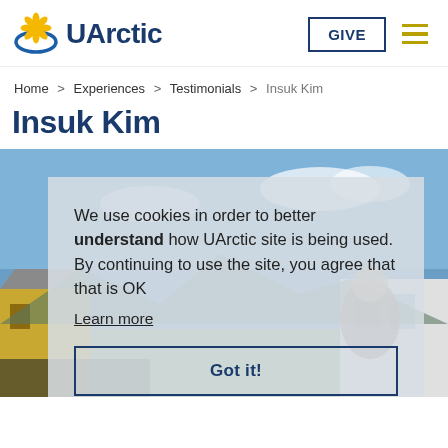UArctic — GIVE | menu
Home > Experiences > Testimonials > Insuk Kim
Insuk Kim
[Figure (photo): Outdoor Arctic scene with colorful buildings and blue sky; cookie consent overlay dialog on top]
We use cookies in order to better understand how UArctic site is being used. By continuing to use the site, you agree that that is OK
Learn more
Got it!